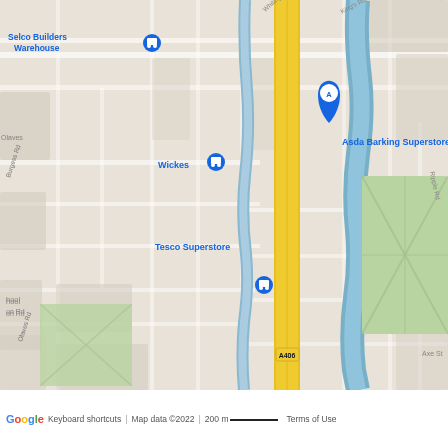[Figure (map): Google Maps screenshot showing Barking area in East London. Shows streets, the River Roding, Abbey Leisure Centre (green park area), and various points of interest including: Selco Builders Warehouse, Wickes, Tesco Superstore, ibis budget London Barking, ibis London Barking, Langdon Academy, Asda Barking Superstore, McDonald's, Barking (tube/rail station), Lidl, Abbey Leisure Centre, Gascoigne Primary School. Road labels include A406, Fresh Wharf Rd, Abbey Rd, St Pauls Rd, Ripple Rd, King's Rd, Whiting Ave, Axe St, Burgess Rd, Olaves Rd, Langdon Rd, Sussex Rd, Langdon Cres. Blue river (River Roding) runs through the center. Yellow highway (A406) runs vertically on left side.]
Google  Keyboard shortcuts | Map data ©2022 | 200 m  Terms of Use